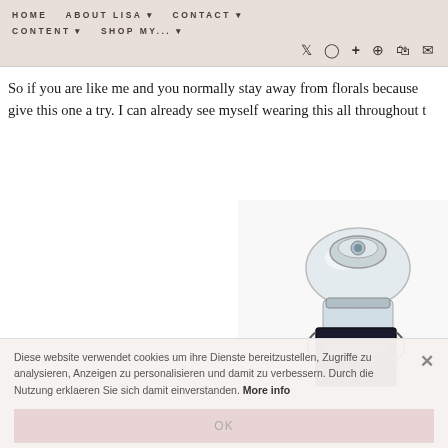HOME   ABOUT LISA ▼   CONTACT ▼   CONTENT ▼   SHOP MY... ▼
So if you are like me and you normally stay away from florals because give this one a try. I can already see myself wearing this all throughout t
[Figure (photo): A glass perfume bottle with chrome/silver top and black base, appears to be a Givenchy fragrance]
Diese website verwendet cookies um ihre Dienste bereitzustellen, Zugriffe zu analysieren, Anzeigen zu personalisieren und damit zu verbessern. Durch die Nutzung erklaeren Sie sich damit einverstanden. More info
OK